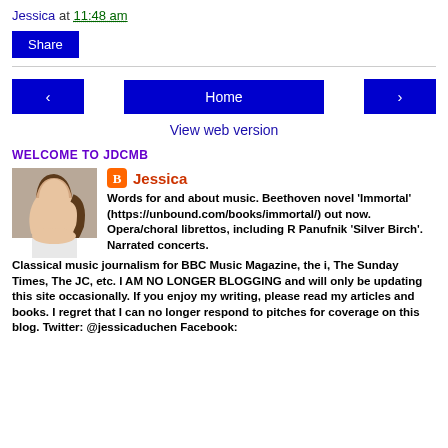Jessica at 11:48 am
Share
< Home >
View web version
WELCOME TO JDCMB
[Figure (photo): Profile photo of Jessica, a woman with brown hair]
Jessica
Words for and about music. Beethoven novel 'Immortal' (https://unbound.com/books/immortal/) out now. Opera/choral librettos, including R Panufnik 'Silver Birch'. Narrated concerts. Classical music journalism for BBC Music Magazine, the i, The Sunday Times, The JC, etc. I AM NO LONGER BLOGGING and will only be updating this site occasionally. If you enjoy my writing, please read my articles and books. I regret that I can no longer respond to pitches for coverage on this blog. Twitter: @jessicaduchen Facebook: